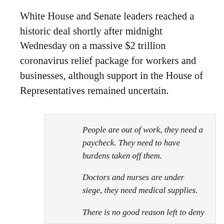White House and Senate leaders reached a historic deal shortly after midnight Wednesday on a massive $2 trillion coronavirus relief package for workers and businesses, although support in the House of Representatives remained uncertain.
People are out of work, they need a paycheck. They need to have burdens taken off them.

Doctors and nurses are under siege, they need medical supplies.

There is no good reason left to deny